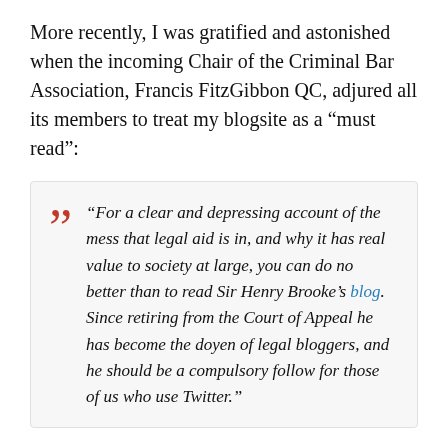More recently, I was gratified and astonished when the incoming Chair of the Criminal Bar Association, Francis FitzGibbon QC, adjured all its members to treat my blogsite as a “must read”:
“For a clear and depressing account of the mess that legal aid is in, and why it has real value to society at large, you can do no better than to read Sir Henry Brooke’s blog. Since retiring from the Court of Appeal he has become the doyen of legal bloggers, and he should be a compulsory follow for those of us who use Twitter.”